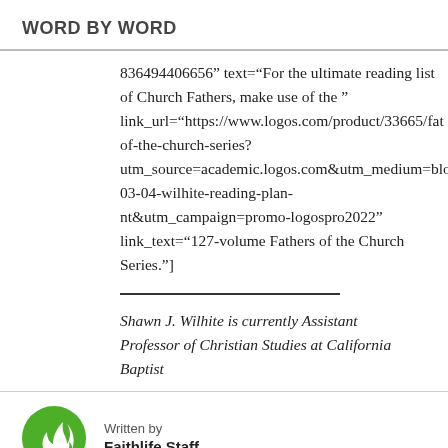WORD BY WORD
836494406656” text=“For the ultimate reading list of Church Fathers, make use of the ” link_url=“https://www.logos.com/product/33665/fath of-the-church-series? utm_source=academic.logos.com&utm_medium=blo 03-04-wilhite-reading-plan- nt&utm_campaign=promo-logospro2022” link_text=“127-volume Fathers of the Church Series.”]
Shawn J. Wilhite is currently Assistant Professor of Christian Studies at California Baptist
Written by
Faithlife Staff